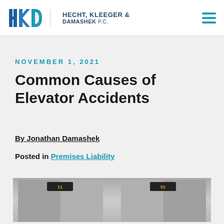HECHT, KLEEGER & DAMASHEK P.C.
NOVEMBER 1, 2021
Common Causes of Elevator Accidents
By Jonathan Damashek
Posted in Premises Liability
[Figure (photo): Photo of elevator doors showing floor indicator panels labeled 11 and 51]